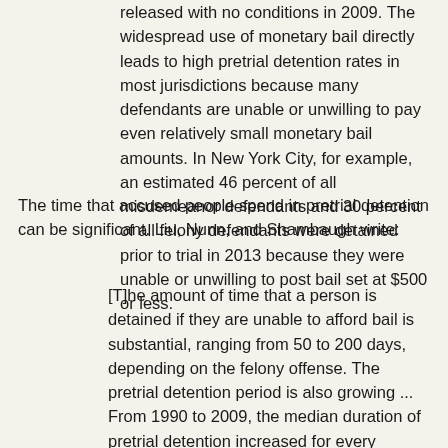released with no conditions in 2009. The widespread use of monetary bail directly leads to high pretrial detention rates in most jurisdictions because many defendants are unable or unwilling to pay even relatively small monetary bail amounts. In New York City, for example, an estimated 46 percent of all misdemeanor defendants and 30 percent of all felony defendants were detained prior to trial in 2013 because they were unable or unwilling to post bail set at $500 or less.
The time that accused people spend in pretrial detention can be significant. Liu, Nunn, and Shambaugh write:
[T]he amount of time that a person is detained if they are unable to afford bail is substantial, ranging from 50 to 200 days, depending on the felony offense. The pretrial detention period is also growing ...  From 1990 to 2009, the median duration of pretrial detention increased for every offense, ranging from an increase of 34 percent to as much as 134 percent for some cases. For a f...